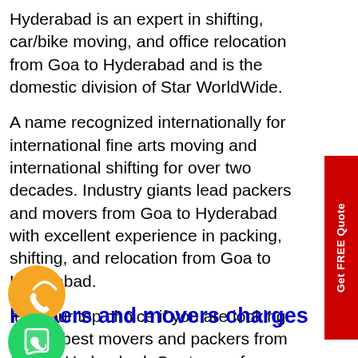Hyderabad is an expert in shifting, car/bike moving, and office relocation from Goa to Hyderabad and is the domestic division of Star WorldWide.
A name recognized internationally for international fine arts moving and international shifting for over two decades. Industry giants lead packers and movers from Goa to Hyderabad with excellent experience in packing, shifting, and relocation from Goa to Hyderabad.
It is your top choice if you are looking for the best movers and packers from Goa to Hyderabad. Our team of professional packers and movers from Goa to Hyderabad can guarantee you a hassle-free shifting experience and safe, secure transportation from Goa to Hyderabad of your goods.
[Figure (illustration): Orange circular phone/calling icon with WiFi-like signal waves]
[Figure (illustration): Green circular WhatsApp icon with white phone handset]
Packers and movers charges from